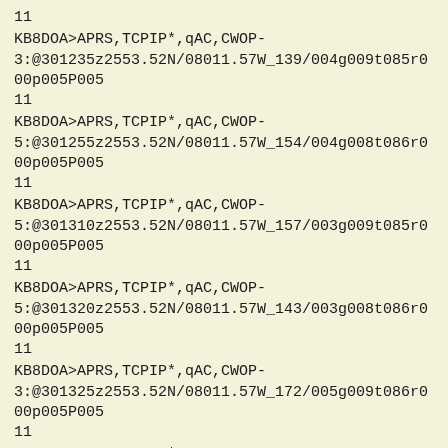11
KB8DOA>APRS,TCPIP*,qAC,CWOP-3:@301235z2553.52N/08011.57W_139/004g009t085r000p005P00511
KB8DOA>APRS,TCPIP*,qAC,CWOP-5:@301255z2553.52N/08011.57W_154/004g008t086r000p005P00511
KB8DOA>APRS,TCPIP*,qAC,CWOP-5:@301310z2553.52N/08011.57W_157/003g009t085r000p005P00511
KB8DOA>APRS,TCPIP*,qAC,CWOP-5:@301320z2553.52N/08011.57W_143/003g008t086r000p005P00511
KB8DOA>APRS,TCPIP*,qAC,CWOP-3:@301325z2553.52N/08011.57W_172/005g009t086r000p005P00511
KB8DOA>APRS,TCPIP*,qAC,CWOP-5:@301330z2553.52N/08011.57W_170/002g009t086r000p005P00511
KB8DOA>APRS,TCPIP*,qAC,CWOP-5:@301335z2553.52N/08011.57W_158/003g008t086r000p005P00511
KB8DOA>APRS,TCPIP*,qAC,CWOP-3:@301340z2553.52N/08011.57W_164/006g015t086r000p005P00511
11